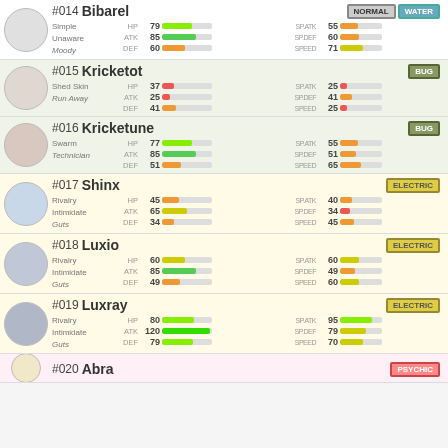[Figure (infographic): Pokemon stat card list showing #014 Bibarel through #020 Abra with sprites, abilities, and stat bars]
#014 Bibarel - NORMAL/WATER - Simple, Unaware, Moody - HP:79 ATK:85 DEF:60 SP.ATK:55 SP.DEF:60 SPEED:71
#015 Kricketot - BUG - Shed Skin, Run Away - HP:37 ATK:25 DEF:41 SP.ATK:25 SP.DEF:41 SPEED:25
#016 Kricketune - BUG - Swarm, Technician - HP:77 ATK:85 DEF:51 SP.ATK:55 SP.DEF:51 SPEED:65
#017 Shinx - ELECTRIC - Rivalry, Intimidate, Guts - HP:45 ATK:65 DEF:34 SP.ATK:40 SP.DEF:34 SPEED:45
#018 Luxio - ELECTRIC - Rivalry, Intimidate, Guts - HP:60 ATK:85 DEF:49 SP.ATK:60 SP.DEF:49 SPEED:60
#019 Luxray - ELECTRIC - Rivalry, Intimidate, Guts - HP:80 ATK:120 DEF:79 SP.ATK:95 SP.DEF:79 SPEED:70
#020 Abra - PSYCHIC